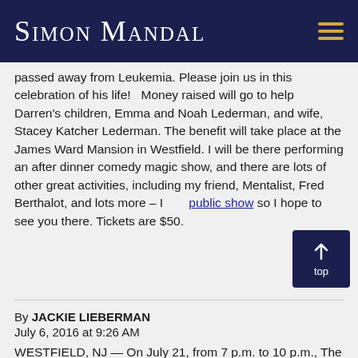Simon Mandal
passed away from Leukemia. Please join us in this celebration of his life!   Money raised will go to help Darren's children, Emma and Noah Lederman, and wife, Stacey Katcher Lederman. The benefit will take place at the James Ward Mansion in Westfield. I will be there performing an after dinner comedy magic show, and there are lots of other great activities, including my friend, Mentalist, Fred Berthalot, and lots more – It's a public show so I hope to see you there. Tickets are $50.
By JACKIE LIEBERMAN
July 6, 2016 at 9:26 AM
WESTFIELD, NJ — On July 21, from 7 p.m. to 10 p.m., The James Ward Mansion, d'Luxe Events and Frungillo Caterers will team up to host a special event celebrating the life of Darren Lederman, a Westfield dad who died from leukemia in March.